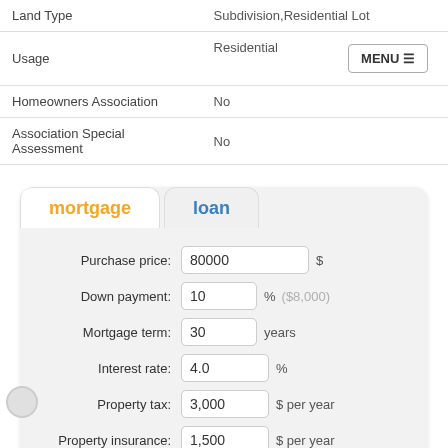| Field | Value |
| --- | --- |
| Land Type | Subdivision, Residential Lot |
| Usage | Residential |
| Homeowners Association | No |
| Association Special Assessment | No |
[Figure (screenshot): Mortgage calculator widget with tabs 'mortgage' and 'loan', and input fields for Purchase price (80000 $), Down payment (10 % / $8,000), Mortgage term (30 years), Interest rate (4.0 %), Property tax (3,000 $ per year), Property insurance (1,500 $ per year).]